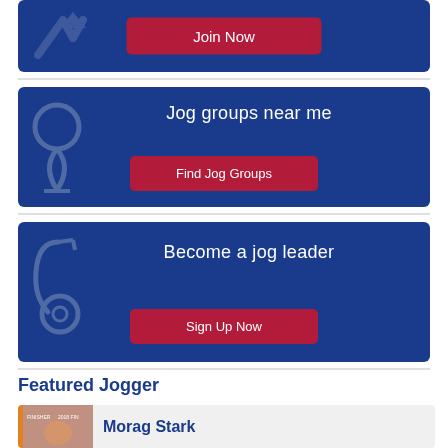[Figure (infographic): Top partial banner with 'Join Now' red button on dark blue background with arrow icon]
[Figure (infographic): Dark blue banner: 'Jog groups near me' with location pin icon and 'Find Jog Groups' red button]
[Figure (infographic): Dark blue banner: 'Become a jog leader' with whistle icon and 'Sign Up Now' red button]
Featured Jogger
[Figure (infographic): Featured jogger card with photo of Morag Stark wearing finisher bib and name 'Morag Stark']